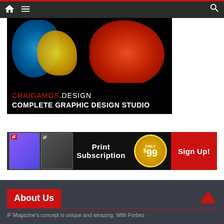[Figure (screenshot): Website navigation bar with home icon, hamburger menu icon on dark background with red top stripe, and search icon on right]
[Figure (illustration): CraigAmos.Design advertisement banner showing colorful ink smoke clouds (blue, yellow, red) on black background with text CRAIGAMOS.DESIGN COMPLETE GRAPHIC DESIGN STUDIO]
[Figure (illustration): iF Magazine print subscription banner ad showing two magazine covers, Print Subscription text, gold price circle showing ONLY $99, and red Sign Up! button]
About Us
iF Magazine's concept is unique and amazing. With Forbes